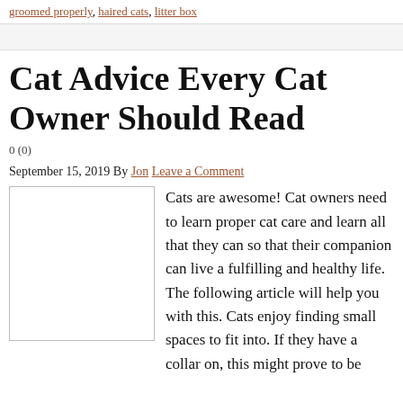groomed properly, haired cats, litter box
Cat Advice Every Cat Owner Should Read
0 (0)
September 15, 2019 By Jon Leave a Comment
[Figure (photo): Image placeholder for cat article]
Cats are awesome! Cat owners need to learn proper cat care and learn all that they can so that their companion can live a fulfilling and healthy life. The following article will help you with this. Cats enjoy finding small spaces to fit into. If they have a collar on, this might prove to be